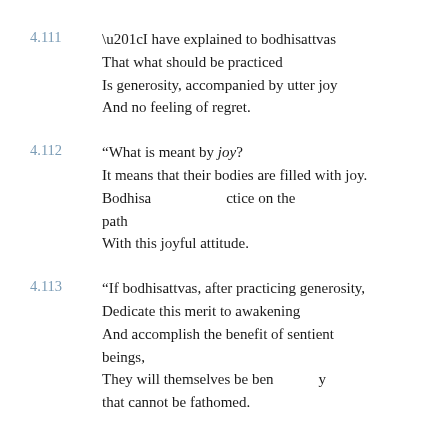4.111 “I have explained to bodhisattvas / That what should be practiced / Is generosity, accompanied by utter joy / And no feeling of regret.
4.112 “What is meant by joy? / It means that their bodies are filled with joy. / Bodhisattvas should practice on the path / With this joyful attitude.
4.113 “If bodhisattvas, after practicing generosity, / Dedicate this merit to awakening / And accomplish the benefit of sentient beings, / They will themselves be benefited by / that cannot be fathomed.